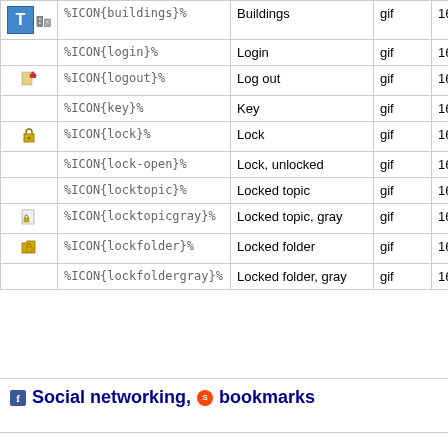|  |  |  |  |  |
| --- | --- | --- | --- | --- |
| [buildings icon] | %ICON{buildings}% | Buildings | gif | 16x16 |
|  | %ICON{login}% | Login | gif | 16x16 |
| [logout icon] | %ICON{logout}% | Log out | gif | 16x16 |
|  | %ICON{key}% | Key | gif | 16x16 |
| [lock icon] | %ICON{lock}% | Lock | gif | 16x16 |
|  | %ICON{lock-open}% | Lock, unlocked | gif | 16x16 |
|  | %ICON{locktopic}% | Locked topic | gif | 16x16 |
| [locktopicgray icon] | %ICON{locktopicgray}% | Locked topic, gray | gif | 16x16 |
| [lockfolder icon] | %ICON{lockfolder}% | Locked folder | gif | 16x16 |
|  | %ICON{lockfoldergray}% | Locked folder, gray | gif | 16x16 |
Social networking, bookmarks